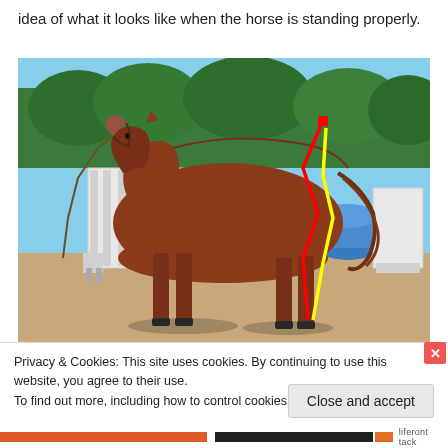idea of what it looks like when the horse is standing properly.
[Figure (photo): A chestnut horse standing in profile view at an equestrian facility with blue barrels and white jump standards in the background. Red and yellow lines are drawn on the horse's hindquarters to illustrate leg and back angle alignment.]
Privacy & Cookies: This site uses cookies. By continuing to use this website, you agree to their use.
To find out more, including how to control cookies, see here: Cookie Policy